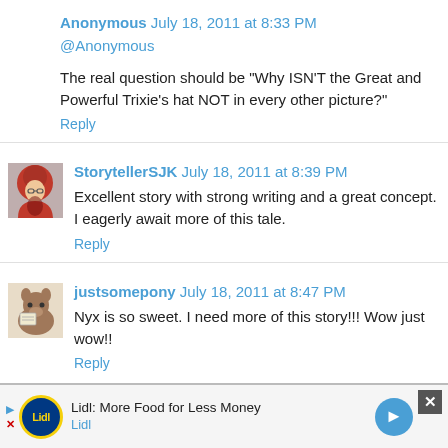Anonymous July 18, 2011 at 8:33 PM
@Anonymous
The real question should be "Why ISN'T the Great and Powerful Trixie's hat NOT in every other picture?"
Reply
StorytellerSJK July 18, 2011 at 8:39 PM
Excellent story with strong writing and a great concept. I eagerly await more of this tale.
Reply
justsomepony July 18, 2011 at 8:47 PM
Nyx is so sweet. I need more of this story!!! Wow just wow!!
Reply
Lidl: More Food for Less Money Lidl